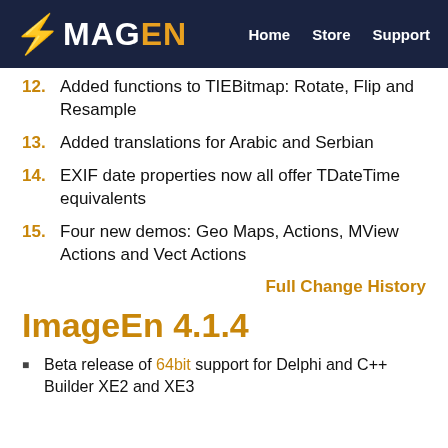IMAGEN — Home  Store  Support
12. Added functions to TIEBitmap: Rotate, Flip and Resample
13. Added translations for Arabic and Serbian
14. EXIF date properties now all offer TDateTime equivalents
15. Four new demos: Geo Maps, Actions, MView Actions and Vect Actions
Full Change History
ImageEn 4.1.4
Beta release of 64bit support for Delphi and C++ Builder XE2 and XE3